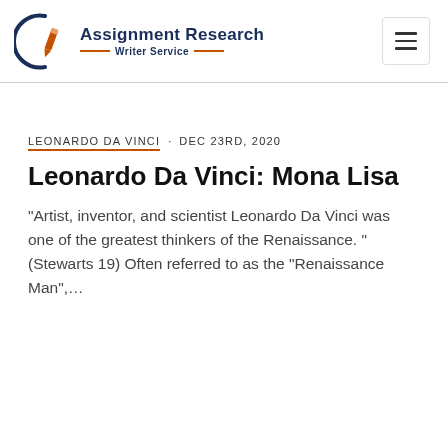[Figure (logo): Assignment Research Writer Service logo with pen icon and orange/navy color scheme]
LEONARDO DA VINCI · DEC 23RD, 2020
Leonardo Da Vinci: Mona Lisa
“Artist, inventor, and scientist Leonardo Da Vinci was one of the greatest thinkers of the Renaissance. ” (Stewarts 19) Often referred to as the “Renaissance Man”,...